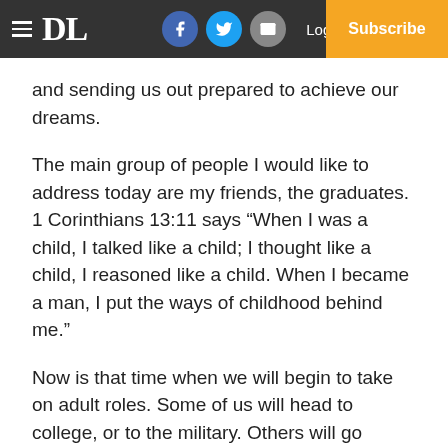DL | Log In | Subscribe
and sending us out prepared to achieve our dreams.
The main group of people I would like to address today are my friends, the graduates. 1 Corinthians 13:11 says “When I was a child, I talked like a child; I thought like a child, I reasoned like a child. When I became a man, I put the ways of childhood behind me.”
Now is that time when we will begin to take on adult roles. Some of us will head to college, or to the military. Others will go straight to the workforce, and some will get married and start families. But we all